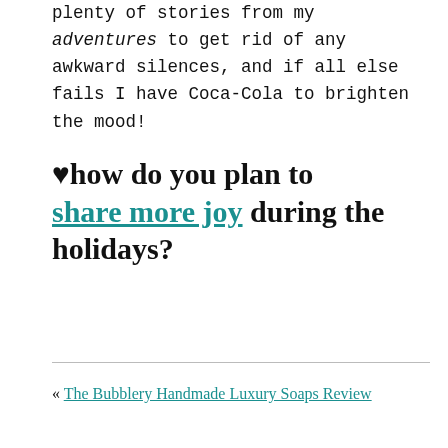plenty of stories from my adventures to get rid of any awkward silences, and if all else fails I have Coca-Cola to brighten the mood!
♥how do you plan to share more joy during the holidays?
« The Bubblery Handmade Luxury Soaps Review